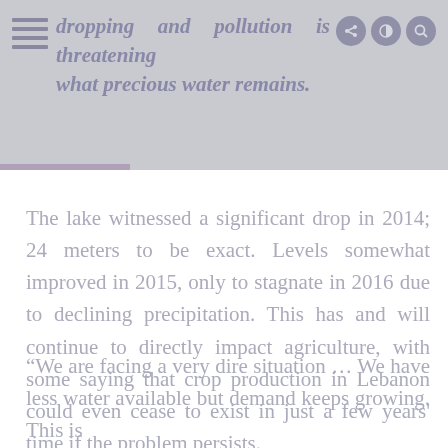dropping and pollution is threatening what precious water remains.
The lake witnessed a significant drop in 2014; 24 meters to be exact. Levels somewhat improved in 2015, only to stagnate in 2016 due to declining precipitation. This has and will continue to directly impact agriculture, with some saying that crop production in Lebanon could even cease to exist in just a few years’ time if the problem persists.
“We are facing a very dire situation … We have less water available but demand keeps growing. This is